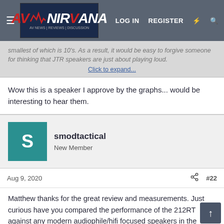AV Nirvana — LOG IN  REGISTER
smallest of which is 10's. As a result, it would be easy to forgive someone for thinking that JTR speakers are just about playing loud. Click to expand...
Wow this is a speaker I approve by the graphs... would be interesting to hear them.
smodtactical
New Member
Aug 9, 2020  #22
Matthew thanks for the great review and measurements. Just curious have you compared the performance of the 212RT against any modern audiophile/hifi focused speakers in the same ball park price or above? I recall someone saying they were blown away by the hifi performance even compared to extremely expensive audiophile speakers but can't find it now.
Matthew J Poes
AV Addict